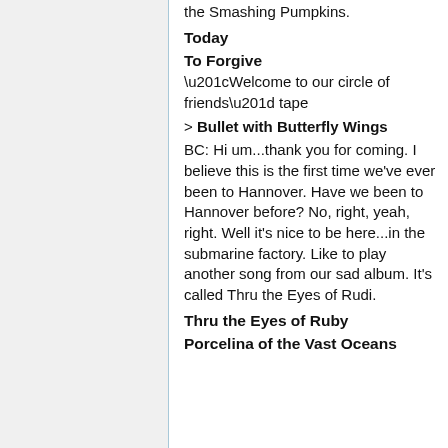the Smashing Pumpkins.
Today
To Forgive
“Welcome to our circle of friends” tape
> Bullet with Butterfly Wings
BC: Hi um...thank you for coming. I believe this is the first time we’ve ever been to Hannover. Have we been to Hannover before? No, right, yeah, right. Well it’s nice to be here...in the submarine factory. Like to play another song from our sad album. It’s called Thru the Eyes of Rudi.
Thru the Eyes of Ruby
Porcelina of the Vast Oceans